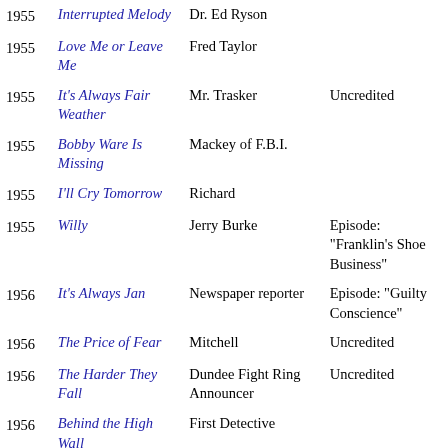| Year | Title | Role | Notes |
| --- | --- | --- | --- |
| 1955 | Interrupted Melody | Dr. Ed Ryson |  |
| 1955 | Love Me or Leave Me | Fred Taylor |  |
| 1955 | It's Always Fair Weather | Mr. Trasker | Uncredited |
| 1955 | Bobby Ware Is Missing | Mackey of F.B.I. |  |
| 1955 | I'll Cry Tomorrow | Richard |  |
| 1955 | Willy | Jerry Burke | Episode: "Franklin's Shoe Business" |
| 1956 | It's Always Jan | Newspaper reporter | Episode: "Guilty Conscience" |
| 1956 | The Price of Fear | Mitchell | Uncredited |
| 1956 | The Harder They Fall | Dundee Fight Ring Announcer | Uncredited |
| 1956 | Behind the High Wall | First Detective |  |
| 1956 | Tea and Sympathy | Headmaster at Bonfire | Uncredited |
| 1957 | The Best Things |  | Uncredited |